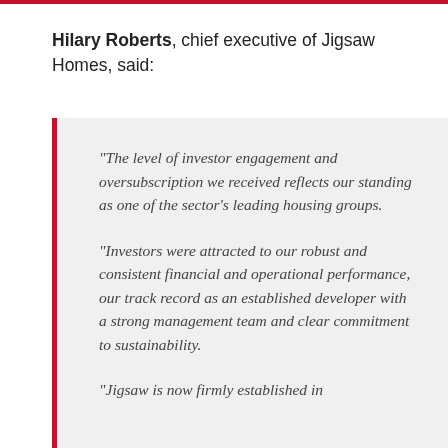Hilary Roberts, chief executive of Jigsaw Homes, said:
“The level of investor engagement and oversubscription we received reflects our standing as one of the sector’s leading housing groups.

“Investors were attracted to our robust and consistent financial and operational performance, our track record as an established developer with a strong management team and clear commitment to sustainability.

“Jigsaw is now firmly established in